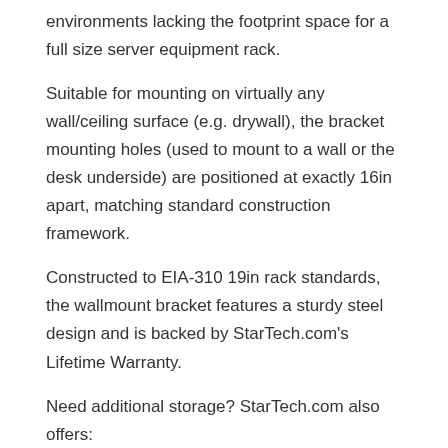environments lacking the footprint space for a full size server equipment rack.
Suitable for mounting on virtually any wall/ceiling surface (e.g. drywall), the bracket mounting holes (used to mount to a wall or the desk underside) are positioned at exactly 16in apart, matching standard construction framework.
Constructed to EIA-310 19in rack standards, the wallmount bracket features a sturdy steel design and is backed by StarTech.com's Lifetime Warranty.
Need additional storage? StarTech.com also offers:
1U 19in Wallmount Bracket
2U 19in Wallmount Bracket
3U 19in Wallmount Bracket
4U 19in Wallmount Bracket